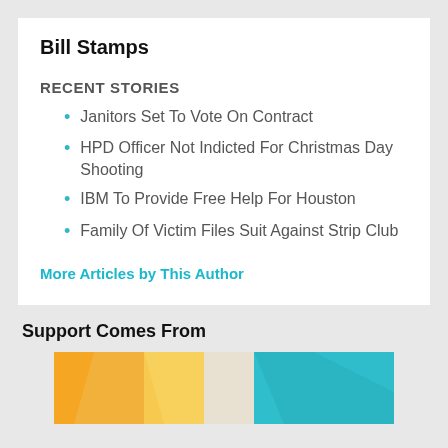Bill Stamps
RECENT STORIES
Janitors Set To Vote On Contract
HPD Officer Not Indicted For Christmas Day Shooting
IBM To Provide Free Help For Houston
Family Of Victim Files Suit Against Strip Club
More Articles by This Author
Support Comes From
[Figure (illustration): Colorful banner image partially visible at the bottom of the page with orange, yellow, and teal geometric shapes]